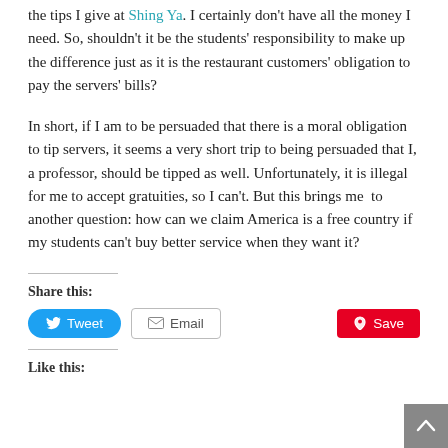the tips I give at Shing Ya. I certainly don't have all the money I need. So, shouldn't it be the students' responsibility to make up the difference just as it is the restaurant customers' obligation to pay the servers' bills?
In short, if I am to be persuaded that there is a moral obligation to tip servers, it seems a very short trip to being persuaded that I, a professor, should be tipped as well. Unfortunately, it is illegal for me to accept gratuities, so I can't. But this brings me  to another question: how can we claim America is a free country if my students can't buy better service when they want it?
Share this:
Like this: